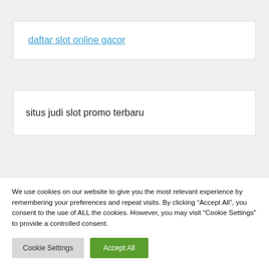daftar slot online gacor
situs judi slot promo terbaru
YOU MAY HAVE MISSED
We use cookies on our website to give you the most relevant experience by remembering your preferences and repeat visits. By clicking “Accept All”, you consent to the use of ALL the cookies. However, you may visit "Cookie Settings" to provide a controlled consent.
Cookie Settings
Accept All